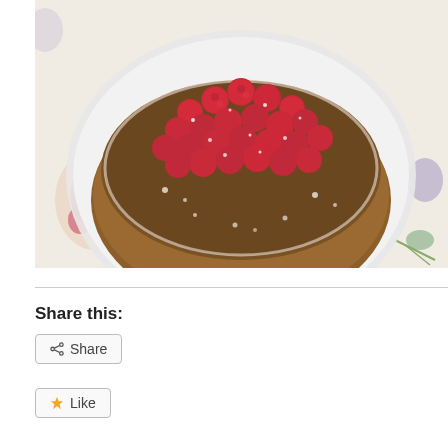[Figure (photo): A round cake topped with fresh raspberries and dusted with powdered sugar, served on a white plate atop a floral tablecloth.]
Share this:
Share
Like